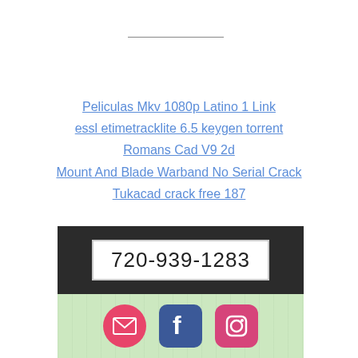Peliculas Mkv 1080p Latino 1 Link
essl etimetracklite 6.5 keygen torrent
Romans Cad V9 2d
Mount And Blade Warband No Serial Crack
Tukacad crack free 187
720-939-1283
[Figure (other): Social media icons: email (red circle), Facebook (blue square), Instagram (pink rounded square) on green wood-grain background]